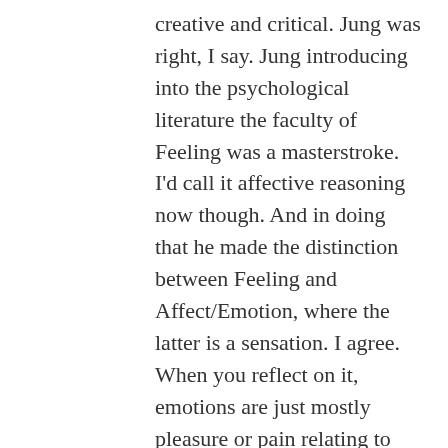creative and critical. Jung was right, I say. Jung introducing into the psychological literature the faculty of Feeling was a masterstroke. I'd call it affective reasoning now though. And in doing that he made the distinction between Feeling and Affect/Emotion, where the latter is a sensation. I agree. When you reflect on it, emotions are just mostly pleasure or pain relating to more intangible events rather than actual tangible objects, e.g.